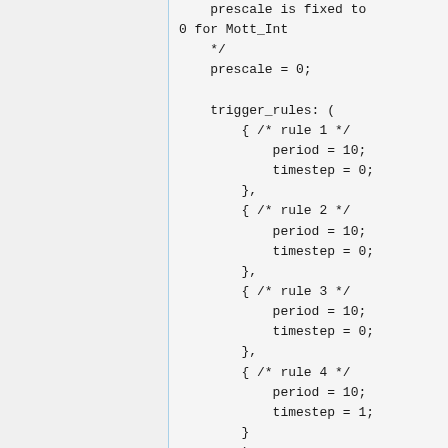prescale is fixed to 0 for Mott_Int
*/
prescale = 0;

trigger_rules: (
    { /* rule 1 */
        period = 10;
        timestep = 0;
    },
    { /* rule 2 */
        period = 10;
        timestep = 0;
    },
    { /* rule 3 */
        period = 10;
        timestep = 0;
    },
    { /* rule 4 */
        period = 10;
        timestep = 1;
    }
    );

random pulser: